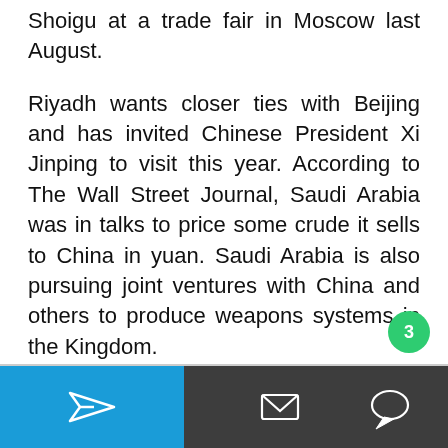Shoigu at a trade fair in Moscow last August.
Riyadh wants closer ties with Beijing and has invited Chinese President Xi Jinping to visit this year. According to The Wall Street Journal, Saudi Arabia was in talks to price some crude it sells to China in yuan. Saudi Arabia is also pursuing joint ventures with China and others to produce weapons systems in the Kingdom.
On March 2, OPEC+ met with ministers avoiding the Ukraine conflict, and all agreed to adhere to the existing policy which includes Russia, and to only increase oil output gradually.
[Figure (screenshot): Mobile app bottom navigation bar with blue left section (send/share icon) and dark gray right section (envelope icon and chat bubble icon), with a green notification badge showing '3']